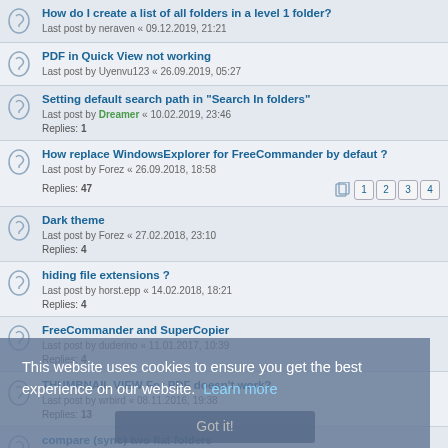How do I create a list of all folders in a level 1 folder? Last post by neraven « 09.12.2019, 21:21
PDF in Quick View not working Last post by Uyenvu123 « 26.09.2019, 05:27
Setting default search path in "Search In folders" Last post by Dreamer « 10.02.2019, 23:46 Replies: 1
How replace WindowsExplorer for FreeCommander by defaut ? Last post by Forez « 26.09.2018, 18:58 Replies: 47 [pages 1 2 3 4]
Dark theme Last post by Forez « 27.02.2018, 23:10 Replies: 4
hiding file extensions ? Last post by horst.epp « 14.02.2018, 18:21 Replies: 4
FreeCommander and SuperCopier Last post by duderino « 11.01.2017, 10:39 Replies: 4
THUMBNAIL VIEW For PDF doesn't work? Last post by wrbird « 08.11.2016, 19:38 Replies: 13
compare (sync) two flat folders Last post by NumberOne « 09.09.2016, 14:40
Summary or note Last post by joby_toss « 27.06.2016, 13:53 Replies: 1
This website uses cookies to ensure you get the best experience on our website. Learn more Got it!